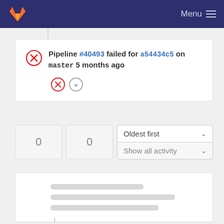GitLab — Menu
Pipeline #40493 failed for a54434c5 on master 5 months ago
[Figure (screenshot): Two circular buttons: a red X button and a double-chevron (>>) button]
0   0   Oldest first ▾   Show all activity ▾
[Figure (screenshot): Skeleton loading card with three gray placeholder bars]
[Figure (screenshot): Skeleton loading card with three gray placeholder bars]